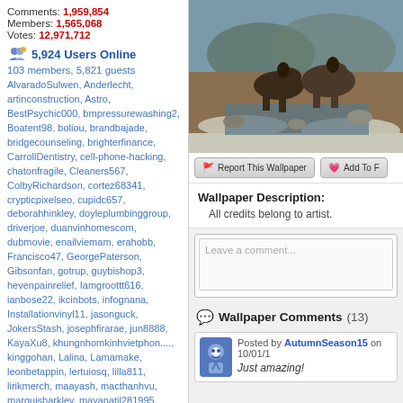Comments: 1,959,854
Members: 1,565,068
Votes: 12,971,712
5,924 Users Online
103 members, 5,821 guests
AlvaradoSulwen, Anderlecht, artinconstruction, Astro, BestPsychic000, bmpressurewashing2, Boatent98, boliou, brandbajade, bridgecounseling, brighterfinance, CarrollDentistry, cell-phone-hacking, chatonfragile, Cleaners567, ColbyRichardson, cortez68341, crypticpixelseo, cupidc657, deborahhinkley, doyleplumbinggroup, driverjoe, duanvinhomescom, dubmovie, enailviemam, erahobb, Francisco47, GeorgePaterson, Gibsonfan, gotrup, guybishop3, hevenpainrelief, Iamgroottt616, ianbose22, ikcinbots, infognana, Installationvinyl11, jasonguck, JokersStash, josephfirarae, jun8888, KayaXu8, khungnhomkinhvietphon...., kinggohan, Lalina, Lamamake, leonbetappin, lertuiosq, lilla811, lirikmerch, maayash, macthanhvu, marquisbarkley, mayapatil281995, McKinneysTX, mikepaxson, missshweta, mistydaydream1, mod.CG, modzoro, mumtazdental, now888today, phoenic777
[Figure (photo): Painting of horses and riders crossing a river in a winter/snowy landscape]
Report This Wallpaper
Add To F
Wallpaper Description:
All credits belong to artist.
Leave a comment...
Wallpaper Comments (13)
Posted by AutumnSeason15 on 10/01/1
Just amazing!